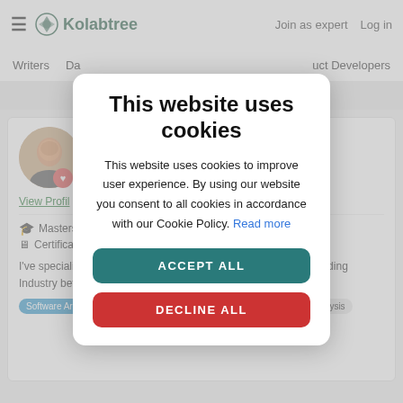≡  Kolabtree    Join as expert  Log in
Writers  Da...  uct Developers
[Figure (screenshot): Profile card showing a man's photo with heart icon, View Profile link, Masters in..., Certification..., and bio text about specializing in career and working in Proprietary Trading Industry between 2012-2019, with tags: Software Architecture, Machine Learning, Data Science, Data Analysis]
This website uses cookies
This website uses cookies to improve user experience. By using our website you consent to all cookies in accordance with our Cookie Policy. Read more
ACCEPT ALL
DECLINE ALL